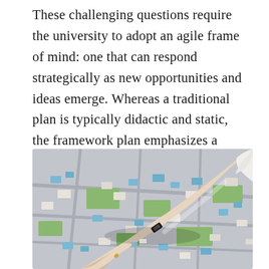These challenging questions require the university to adopt an agile frame of mind: one that can respond strategically as new opportunities and ideas emerge. Whereas a traditional plan is typically didactic and static, the framework plan emphasizes a nimble mindset by playing out different scenarios, testing future developments, and keeping the door open for decisions to change over time.
[Figure (photo): A person's hand reaching over a physical architectural scale model/planning map laid out on a table, with small blue, green, and white building blocks arranged on a grey map surface, suggesting urban planning or campus planning activity.]